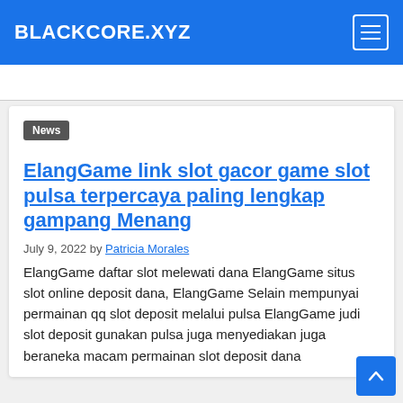BLACKCORE.XYZ
News
ElangGame link slot gacor game slot pulsa terpercaya paling lengkap gampang Menang
July 9, 2022 by Patricia Morales
ElangGame daftar slot melewati dana ElangGame situs slot online deposit dana, ElangGame Selain mempunyai permainan qq slot deposit melalui pulsa ElangGame judi slot deposit gunakan pulsa juga menyediakan juga beraneka macam permainan slot deposit dana